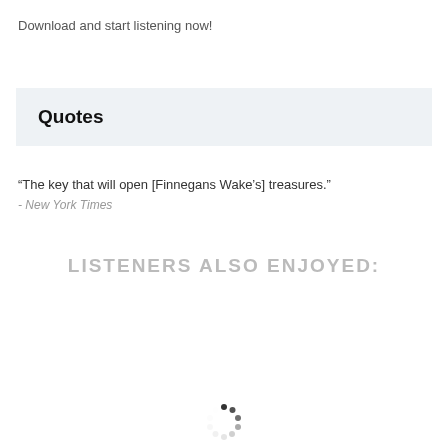Download and start listening now!
Quotes
“The key that will open [Finnegans Wake’s] treasures.”
- New York Times
LISTENERS ALSO ENJOYED:
[Figure (other): Loading spinner icon at the bottom center of the page]